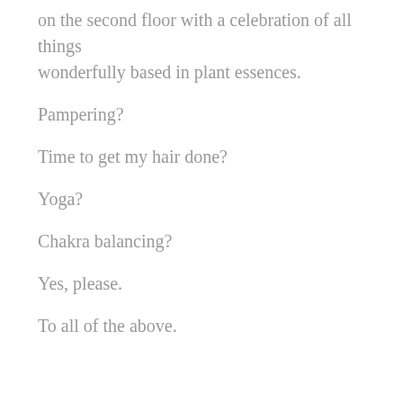on the second floor with a celebration of all things wonderfully based in plant essences.
Pampering?
Time to get my hair done?
Yoga?
Chakra balancing?
Yes, please.
To all of the above.